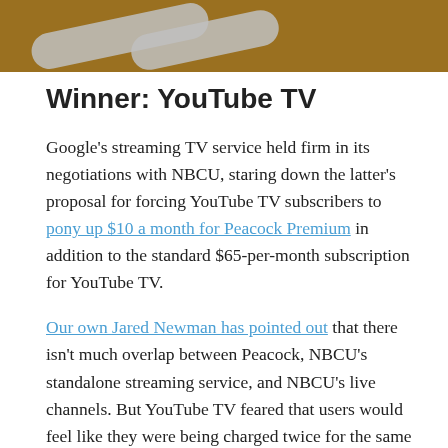[Figure (photo): Top portion of an image with a brown/golden background and two gray rounded pill/oval shapes visible]
Winner: YouTube TV
Google's streaming TV service held firm in its negotiations with NBCU, staring down the latter's proposal for forcing YouTube TV subscribers to pony up $10 a month for Peacock Premium in addition to the standard $65-per-month subscription for YouTube TV.
Our own Jared Newman has pointed out that there isn't much overlap between Peacock, NBCU's standalone streaming service, and NBCU's live channels. But YouTube TV feared that users would feel like they were being charged twice for the same content, not to mention having Peacock